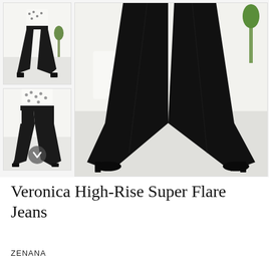[Figure (photo): Product page showing Veronica High-Rise Super Flare Jeans in black. Left column has two thumbnail photos of a woman wearing black flare jeans. Right side shows a large main photo close-up of the legs wearing black super flare jeans with black heels.]
Veronica High-Rise Super Flare Jeans
ZENANA